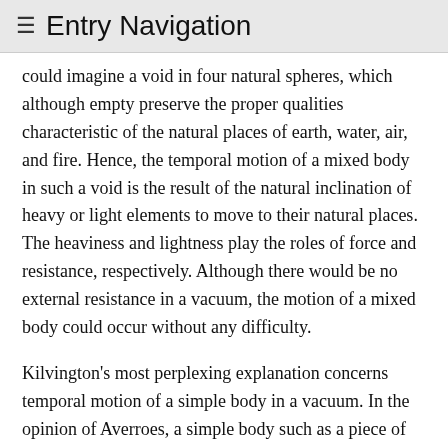≡ Entry Navigation
could imagine a void in four natural spheres, which although empty preserve the proper qualities characteristic of the natural places of earth, water, air, and fire. Hence, the temporal motion of a mixed body in such a void is the result of the natural inclination of heavy or light elements to move to their natural places. The heaviness and lightness play the roles of force and resistance, respectively. Although there would be no external resistance in a vacuum, the motion of a mixed body could occur without any difficulty.
Kilvington's most perplexing explanation concerns temporal motion of a simple body in a vacuum. In the opinion of Averroes, a simple body such as a piece of earth has an elementary form, prime matter, and different quantitative parts because it can be divided into parts. Because form cannot resist matter, no resistance can come from its qualitative parts. But there can be resistance from its quantitative parts resisting one another. Kilvington maintains that the temporal motion of a simple body in a vacuum is made possible by the internal resistance that